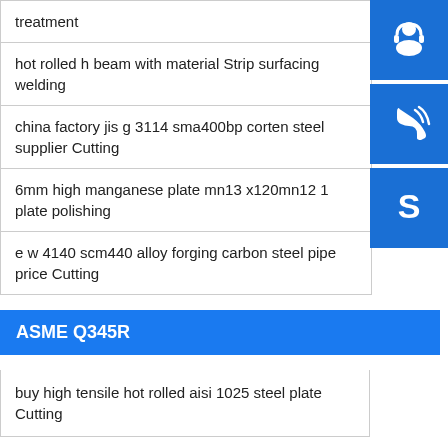treatment
hot rolled h beam with material Strip surfacing welding
china factory jis g 3114 sma400bp corten steel supplier Cutting
6mm high manganese plate mn13 x120mn12 1 plate polishing
e w 4140 scm440 alloy forging carbon steel pipe price Cutting
ASME Q345R
buy high tensile hot rolled aisi 1025 steel plate Cutting